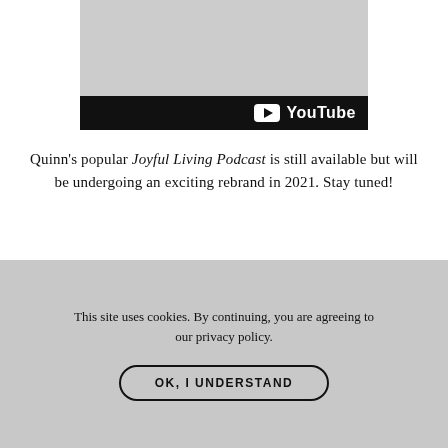[Figure (screenshot): YouTube video thumbnail showing a person in a black outfit with a cursive 'Quinn' signature, with a black YouTube logo bar at the bottom]
Quinn's popular Joyful Living Podcast is still available but will be undergoing an exciting rebrand in 2021. Stay tuned!
[Figure (illustration): Decorative gold script text reading 'let's connect on instagram' with a partial second line below]
This site uses cookies. By continuing, you are agreeing to our privacy policy.
OK, I UNDERSTAND